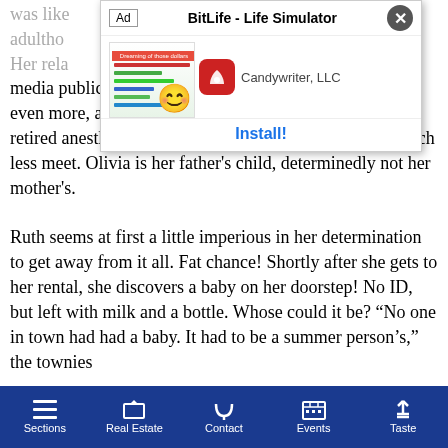[Figure (screenshot): Mobile app advertisement overlay for BitLife - Life Simulator by Candywriter, LLC with Install button]
was like... adulthood... business. Her rela... social media publicist in midtown, never good, has deteriorated even more, and though she and her ex, Ben, a recently retired anesthesiologist, are friendly, they rarely talk, much less meet. Olivia is her father’s child, determinedly not her mother’s.

Ruth seems at first a little imperious in her determination to get away from it all. Fat chance! Shortly after she gets to her rental, she discovers a baby on her doorstep! No ID, but left with milk and a bottle. Whose could it be? “No one in town had had a baby. It had to be a summer person’s,” the townies
Sections   Real Estate   Contact   Events   Taste